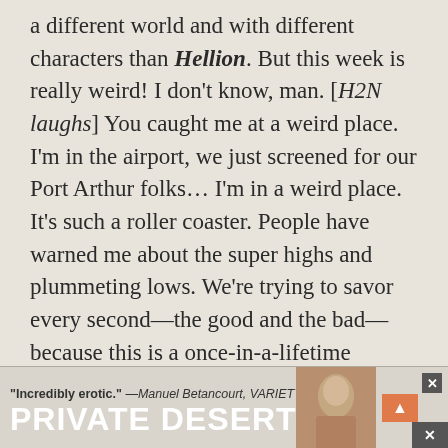a different world and with different characters than Hellion. But this week is really weird! I don't know, man. [H2N laughs] You caught me at a weird place. I'm in the airport, we just screened for our Port Arthur folks… I'm in a weird place. It's such a roller coaster. People have warned me about the super highs and plummeting lows. We're trying to savor every second—the good and the bad—because this is a once-in-a-lifetime experience. We're making movies. We're doing what we love. I wouldn't trade that for the world.
[Figure (other): Advertisement banner for 'Private Desert' with quote 'Incredibly erotic.' —Manuel Betancourt, VARIETY and close/navigation buttons]